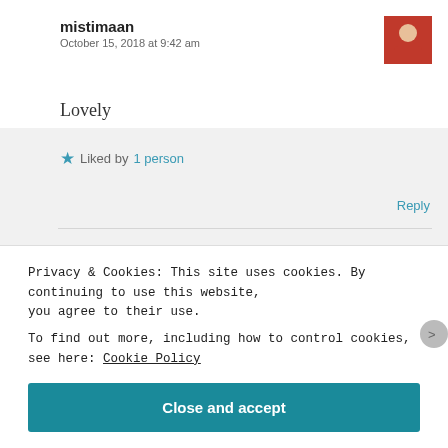mistimaan
October 15, 2018 at 9:42 am
Lovely
★ Liked by 1 person
Reply
Rad Gamer
Privacy & Cookies: This site uses cookies. By continuing to use this website, you agree to their use.
To find out more, including how to control cookies, see here: Cookie Policy
Close and accept